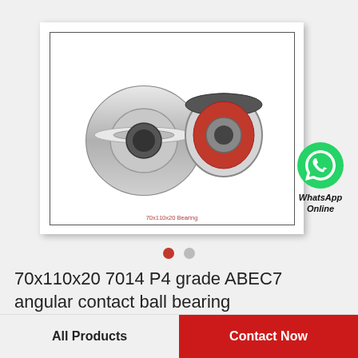[Figure (photo): Two angular contact ball bearings shown side by side — one with metallic shield (left, larger) and one with red rubber seal (right, smaller), inside a white box with border and drop shadow. Caption reads '70x110x20 Bearing' in red text below the image.]
[Figure (logo): WhatsApp green circle icon with white phone handset, followed by text 'WhatsApp Online' in bold italic black.]
70x110x20 7014 P4 grade ABEC7 angular contact ball bearing
All Products
Contact Now